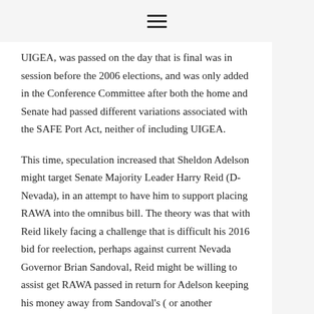☰
UIGEA, was passed on the day that is final was in session before the 2006 elections, and was only added in the Conference Committee after both the home and Senate had passed different variations associated with the SAFE Port Act, neither of including UIGEA.
This time, speculation increased that Sheldon Adelson might target Senate Majority Leader Harry Reid (D-Nevada), in an attempt to have him to support placing RAWA into the omnibus bill. The theory was that with Reid likely facing a challenge that is difficult his 2016 bid for reelection, perhaps against current Nevada Governor Brian Sandoval, Reid might be willing to assist get RAWA passed in return for Adelson keeping his money away from Sandoval's ( or another